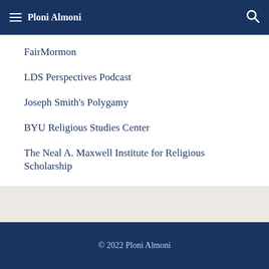Ploni Almoni
FairMormon
LDS Perspectives Podcast
Joseph Smith's Polygamy
BYU Religious Studies Center
The Neal A. Maxwell Institute for Religious Scholarship
© 2022 Ploni Almoni